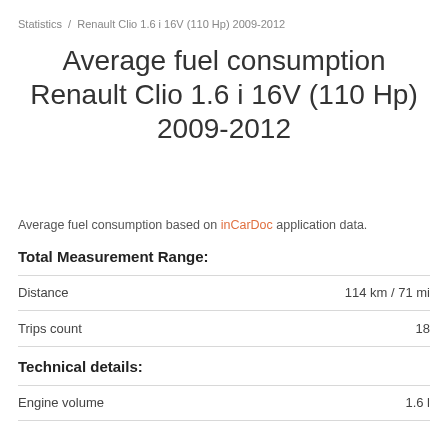Statistics / Renault Clio 1.6 i 16V (110 Hp) 2009-2012
Average fuel consumption Renault Clio 1.6 i 16V (110 Hp) 2009-2012
Average fuel consumption based on inCarDoc application data.
Total Measurement Range:
|  |  |
| --- | --- |
| Distance | 114 km / 71 mi |
| Trips count | 18 |
Technical details:
|  |  |
| --- | --- |
| Engine volume | 1.6 l |